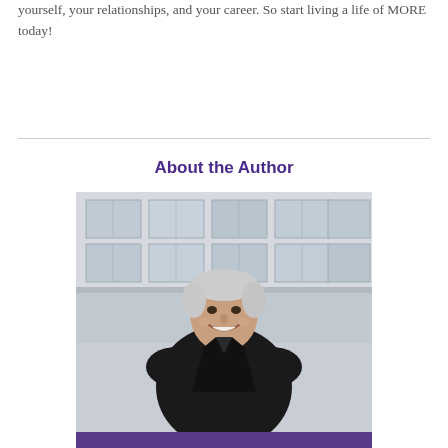yourself, your relationships, and your career. So start living a life of MORE today!
About the Author
[Figure (photo): Author photo: older man with grey hair, smiling, wearing a black jacket, standing in front of windows of a building with purple trim at bottom.]